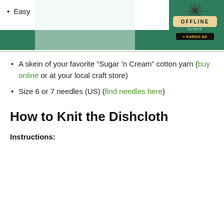[Figure (photo): Advertisement banner showing a woman in athletic wear sitting on luggage against a green background, with OFFLINE by Aerie branding and KARGO AD badge, and a starburst logo in upper right.]
Easy
A skein of your favorite “Sugar ’n Cream” cotton yarn (buy online or at your local craft store)
Size 6 or 7 needles (US) (find needles here)
How to Knit the Dishcloth
Instructions: